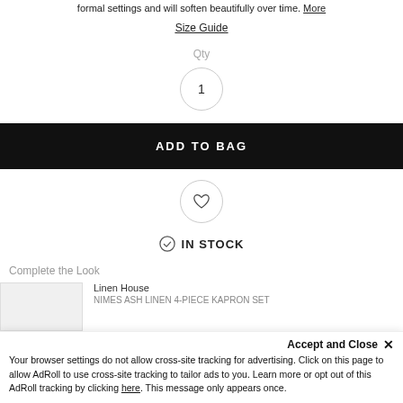formal settings and will soften beautifully over time. More
Size Guide
Qty
1
ADD TO BAG
[Figure (illustration): Heart icon inside a circle (wishlist button)]
IN STOCK
Complete the Look
Linen House
NIMES ASH LINEN 4-PIECE KAPRON SET
Accept and Close ✕
Your browser settings do not allow cross-site tracking for advertising. Click on this page to allow AdRoll to use cross-site tracking to tailor ads to you. Learn more or opt out of this AdRoll tracking by clicking here. This message only appears once.